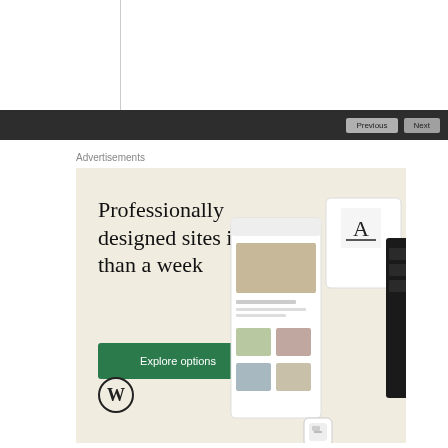[Figure (screenshot): Top portion of a webpage with a vertical dividing line and a dark navigation bar with Previous and Next buttons]
Advertisements
[Figure (illustration): WordPress advertisement banner with beige background. Headline: Professionally designed sites in less than a week. Green Explore options button. WordPress logo and mock website screenshots on the right side.]